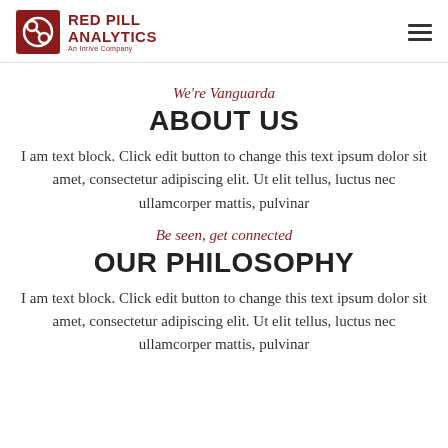RED PILL ANALYTICS An Inrive Company
We're Vanguarda
ABOUT US
I am text block. Click edit button to change this text ipsum dolor sit amet, consectetur adipiscing elit. Ut elit tellus, luctus nec ullamcorper mattis, pulvinar
Be seen, get connected
OUR PHILOSOPHY
I am text block. Click edit button to change this text ipsum dolor sit amet, consectetur adipiscing elit. Ut elit tellus, luctus nec ullamcorper mattis, pulvinar